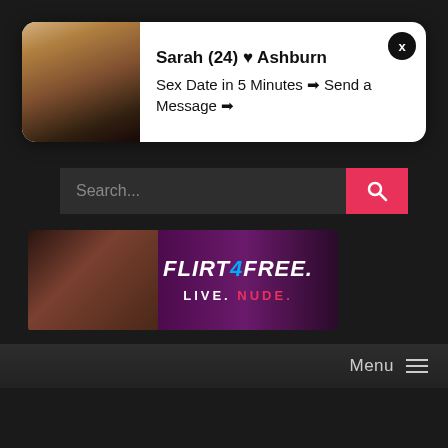[Figure (screenshot): Popup notification card with photo of blonde woman on left and text on right saying 'Sarah (24) ♥ Ashburn' and 'Sex Date in 5 Minutes ➡ Send a Message ➡']
Sarah (24) ♥ Ashburn
Sex Date in 5 Minutes ➡ Send a Message ➡
[Figure (screenshot): Search bar with placeholder text 'Search...' and pink/red search button with magnifying glass icon]
[Figure (infographic): Flirt4Free advertisement banner showing woman and text 'FLIRT4FREE. LIVE. NUDE.']
Menu ☰